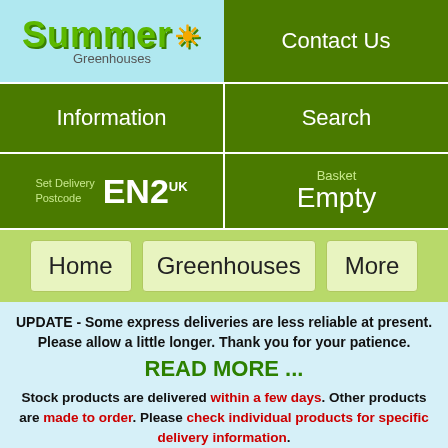[Figure (logo): Summer Greenhouses logo with sun graphic on light blue background]
Contact Us
Information
Search
Set Delivery Postcode  EN2 UK
Basket  Empty
Home
Greenhouses
More
UPDATE - Some express deliveries are less reliable at present. Please allow a little longer. Thank you for your patience. READ MORE ... Stock products are delivered within a few days. Other products are made to order. Please check individual products for specific delivery information.
By continuing to browse this web site, you are consenting to the use of cookies. See the Privacy/Cookies page for more information about how we use cookies on this web site.